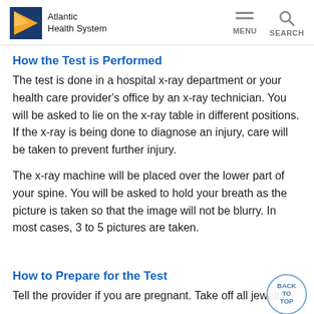Atlantic Health System
How the Test is Performed
The test is done in a hospital x-ray department or your health care provider's office by an x-ray technician. You will be asked to lie on the x-ray table in different positions. If the x-ray is being done to diagnose an injury, care will be taken to prevent further injury.
The x-ray machine will be placed over the lower part of your spine. You will be asked to hold your breath as the picture is taken so that the image will not be blurry. In most cases, 3 to 5 pictures are taken.
How to Prepare for the Test
Tell the provider if you are pregnant. Take off all jewelry.